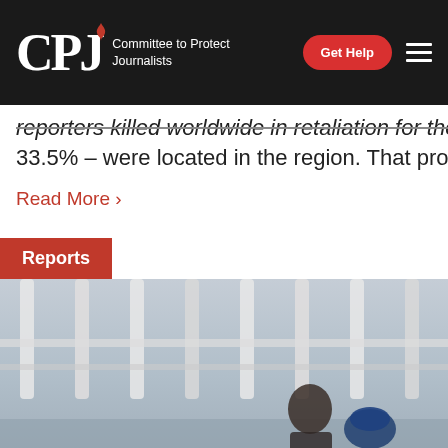CPJ – Committee to Protect Journalists
reporters killed worldwide in retaliation for their work S… 33.5% – were located in the region. That proportion ro
Read More ›
Reports
[Figure (photo): Photo of a person behind prison/fence bars, background shows fence with a figure visible]